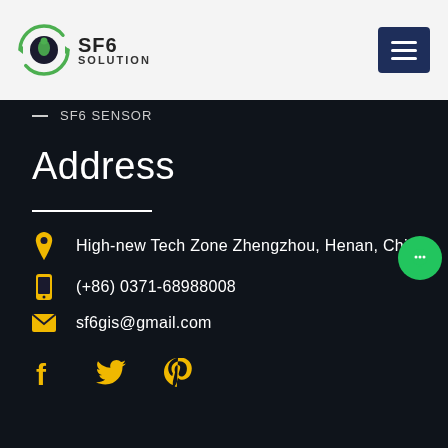SF6 SOLUTION
SF6 SENSOR
Address
High-new Tech Zone Zhengzhou, Henan, China
(+86) 0371-68988008
sf6gis@gmail.com